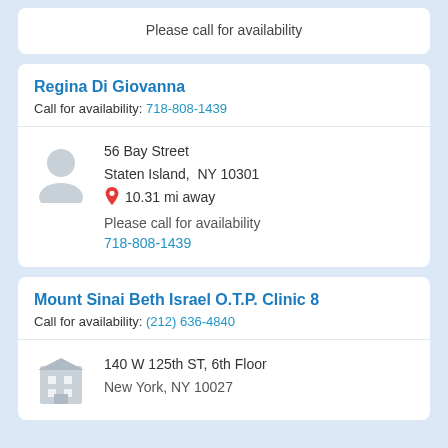Please call for availability
Regina Di Giovanna
Call for availability: 718-808-1439
56 Bay Street
Staten Island, NY 10301
10.31 mi away
Please call for availability
718-808-1439
Mount Sinai Beth Israel O.T.P. Clinic 8
Call for availability: (212) 636-4840
140 W 125th ST, 6th Floor